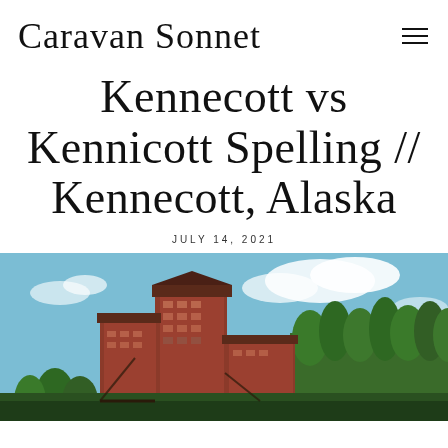Caravan Sonnet
Kennecott vs Kennicott Spelling // Kennecott, Alaska
JULY 14, 2021
[Figure (photo): Photograph of Kennecott historic mine buildings (red multi-story wooden structures) surrounded by green spruce trees against a partly cloudy blue sky, viewed from below.]